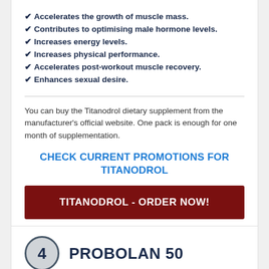✔ Accelerates the growth of muscle mass.
✔ Contributes to optimising male hormone levels.
✔ Increases energy levels.
✔ Increases physical performance.
✔ Accelerates post-workout muscle recovery.
✔ Enhances sexual desire.
You can buy the Titanodrol dietary supplement from the manufacturer's official website. One pack is enough for one month of supplementation.
CHECK CURRENT PROMOTIONS FOR TITANODROL
TITANODROL - ORDER NOW!
4  PROBOLAN 50